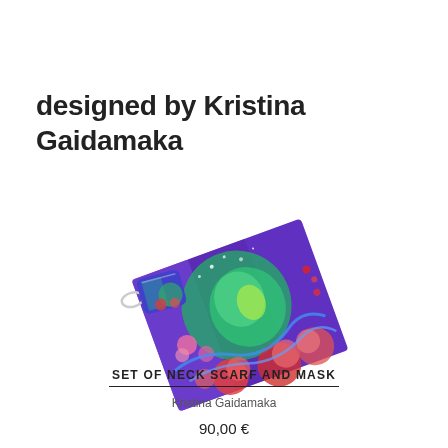designed by Kristina Gaidamaka
[Figure (photo): A colorful silk neck scarf and matching face mask featuring an underwater/ocean scene with purple, teal, green, and coral/red colors, displayed at an angle on a white background.]
SET OF NECK SCARF AND MASK
Kristina Gaidamaka
90,00 €